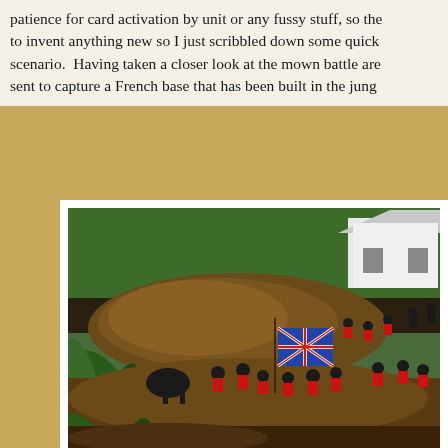patience for card activation by unit or any fussy stuff, so the to invent anything new so I just scribbled down some quick scenario.  Having taken a closer look at the mown battle are sent to capture a French base that has been built in the jung
[Figure (photo): Photo of miniature toy soldiers (red and black uniforms) with a British Union Jack flag, advancing through overgrown jungle/garden terrain with dirt mounds and a small white model house in the background.]